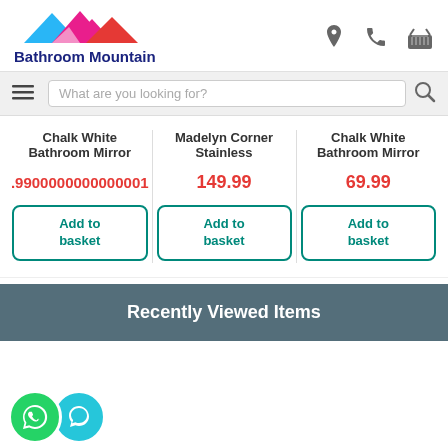[Figure (logo): Bathroom Mountain logo with colorful mountain peaks (blue, magenta, red) and bold navy text 'Bathroom Mountain']
[Figure (infographic): Header icons: map pin, phone, shopping basket]
What are you looking for?
| Chalk White Bathroom Mirror | Madelyn Corner Stainless | Chalk White Bathroom Mirror |
| --- | --- | --- |
| .9900000000000001 | 149.99 | 69.99 |
| Add to basket | Add to basket | Add to basket |
Recently Viewed Items